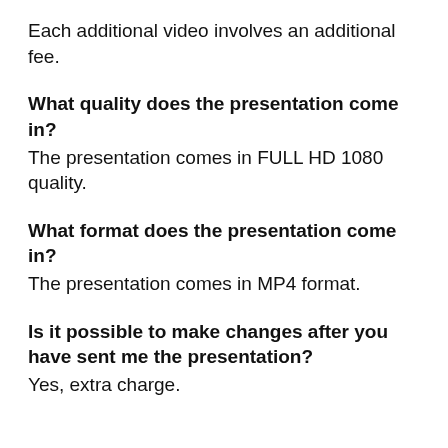Each additional video involves an additional fee.
What quality does the presentation come in?
The presentation comes in FULL HD 1080 quality.
What format does the presentation come in?
The presentation comes in MP4 format.
Is it possible to make changes after you have sent me the presentation?
Yes, extra charge.